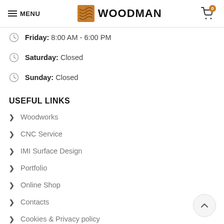MENU | WOODMAN | Cart 0
Friday: 8:00 AM - 6:00 PM
Saturday: Closed
Sunday: Closed
USEFUL LINKS
Woodworks
CNC Service
IMI Surface Design
Portfolio
Online Shop
Contacts
Cookies & Privacy policy